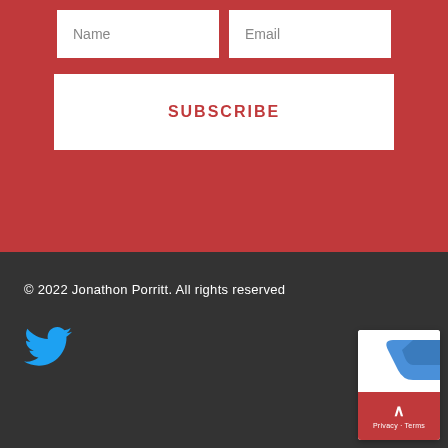[Figure (screenshot): Form fields for Name and Email newsletter subscription inputs on red background]
SUBSCRIBE
© 2022 Jonathon Porritt. All rights reserved
[Figure (logo): Twitter bird icon in blue]
[Figure (screenshot): Scroll-to-top button widget with privacy/terms text]